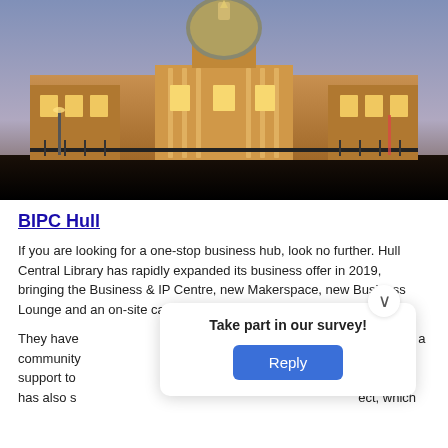[Figure (photo): Night photograph of Hull Central Library, a grand neoclassical building with a large dome, illuminated by warm golden lights against a twilight blue sky.]
BIPC Hull
If you are looking for a one-stop business hub, look no further. Hull Central Library has rapidly expanded its business offer in 2019, bringing the Business & IP Centre, new Makerspace, new Business Lounge and an on-site café all under the same roof.
They have [obscured by popup] ding for a community [obscured] usiness support to [obscured] The team has also s[obscured] ect, which